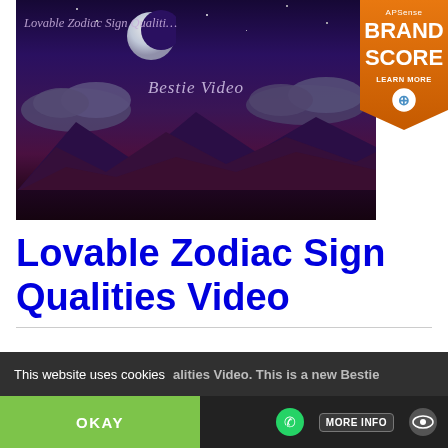[Figure (screenshot): Video thumbnail showing a night sky scene with a crescent moon, clouds, and mountains. Text reads 'Lovable Zodiac Sign Qualities' and 'Bestie Video'. An APSense Brand Score badge overlays the top-right corner.]
Lovable Zodiac Sign Qualities Video
This website uses cookies
OKAY
MORE INFO